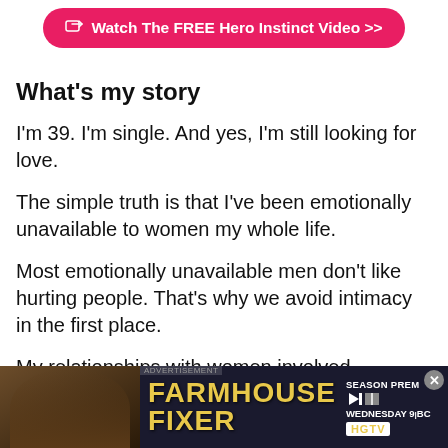[Figure (illustration): Pink rounded button with arrow/link icon: 'Watch The FREE Hero Instinct Video >>']
What's my story
I'm 39. I'm single. And yes, I'm still looking for love.
The simple truth is that I've been emotionally unavailable to women my whole life.
Most emotionally unavailable men don't like hurting people. That's why we avoid intimacy in the first place.
My relationships with women involved everything from 'best friends with benefits' to being 'partners in crime'.
[Figure (screenshot): Advertisement banner for Farmhouse Fixer, Season Premiere Wednesday 9 BC on HGTV, with show host and logo]